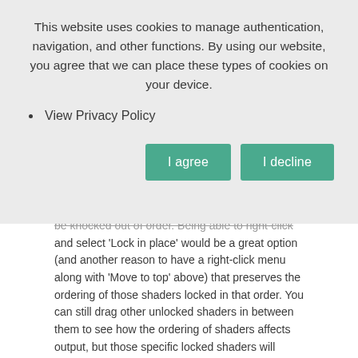This website uses cookies to manage authentication, navigation, and other functions. By using our website, you agree that we can place these types of cookies on your device.
View Privacy Policy
I agree
I decline
be knocked out of order. Being able to right-click and select 'Lock in place' would be a great option (and another reason to have a right-click menu along with 'Move to top' above) that preserves the ordering of those shaders locked in that order. You can still drag other unlocked shaders in between them to see how the ordering of shaders affects output, but those specific locked shaders will always keep their ordering between them regardless.